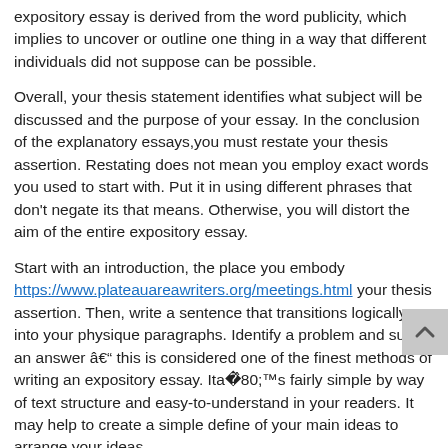expository essay is derived from the word publicity, which implies to uncover or outline one thing in a way that different individuals did not suppose can be possible.
Overall, your thesis statement identifies what subject will be discussed and the purpose of your essay. In the conclusion of the explanatory essays,you must restate your thesis assertion. Restating does not mean you employ exact words you used to start with. Put it in using different phrases that don't negate its that means. Otherwise, you will distort the aim of the entire expository essay.
Start with an introduction, the place you embody https://www.plateauareawriters.org/meetings.html your thesis assertion. Then, write a sentence that transitions logically into your physique paragraphs. Identify a problem and supply an answer â this is considered one of the finest methods of writing an expository essay. Itâs fairly simple by way of text structure and easy-to-understand in your readers. It may help to create a simple define of your main ideas to arrange your ideas.
He wears the cape, prime hat, holds a pointer and has a loud voice. He gets the attention of everybody by explaining what they will see inside for a small charge. He can get away with chopping up narratives and main the audience in circles. Ideally, the aim of an